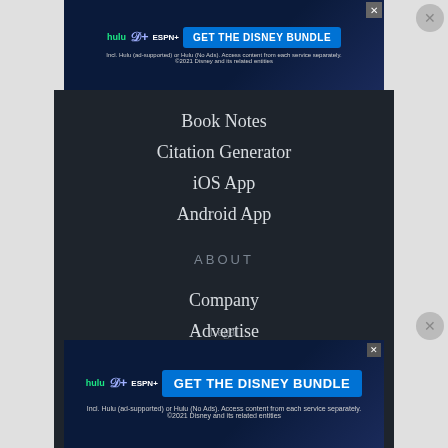[Figure (screenshot): Disney Bundle advertisement banner at top: Hulu, Disney+, ESPN+ logos with 'GET THE DISNEY BUNDLE' blue button. Fine print: 'Incl. Hulu (ad-supported) or Hulu (No Ads). Access content from each service separately. ©2021 Disney and its related entities']
Book Notes
Citation Generator
iOS App
Android App
ABOUT
Company
Advertise
Jobs HIRING
Blog
Legal
Student Brands
[Figure (screenshot): Disney Bundle advertisement banner at bottom: same as top ad. Hulu, Disney+, ESPN+ logos with 'GET THE DISNEY BUNDLE' blue button. Fine print: 'Incl. Hulu (ad-supported) or Hulu (No Ads). Access content from each service separately. ©2021 Disney and its related entities']